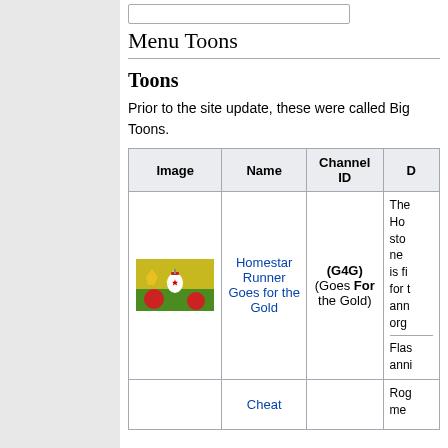Menu Toons
Toons
Prior to the site update, these were called Big Toons.
| Image | Name | Channel ID | D |
| --- | --- | --- | --- |
| [image] | Homestar Runner Goes for the Gold | (G4G) (Goes For the Gold) | The Ho sto ne is fi for ann org

Flas anni |
| [image] | Cheat |  | Rog me |